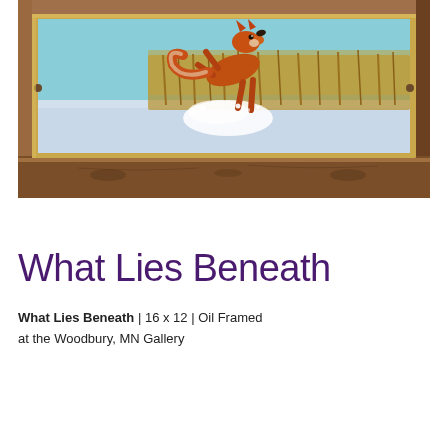[Figure (illustration): A framed oil painting showing a red fox leaping through snow. The fox is captured mid-jump with its body arched upward, paws in the air, over a snowy landscape. In the background are golden grasses or reeds. The painting is set in a warm wooden frame with gold inner trim.]
What Lies Beneath
What Lies Beneath | 16 x 12 | Oil Framed
at the Woodbury, MN Gallery